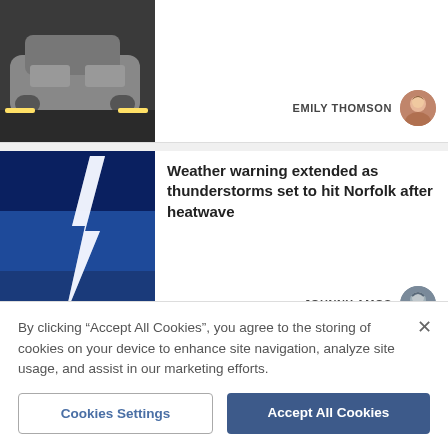[Figure (photo): Photo of a silver car at night on a street, top portion cropped]
EMILY THOMSON
[Figure (photo): Author avatar of Emily Thomson]
[Figure (photo): Lightning strike over a city at night with blue sky]
Weather warning extended as thunderstorms set to hit Norfolk after heatwave
JOHNNY AMOS
[Figure (photo): Author avatar of Johnny Amos]
[Figure (photo): Dark stormy sky photo, partially visible]
This is when thunderstorms will hit Norfolk this week
By clicking "Accept All Cookies", you agree to the storing of cookies on your device to enhance site navigation, analyze site usage, and assist in our marketing efforts.
Cookies Settings
Accept All Cookies